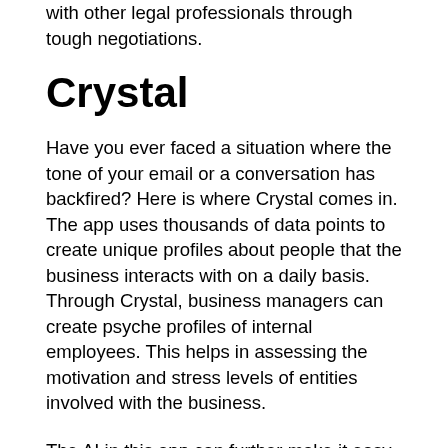with other legal professionals through tough negotiations.
Crystal
Have you ever faced a situation where the tone of your email or a conversation has backfired? Here is where Crystal comes in. The app uses thousands of data points to create unique profiles about people that the business interacts with on a daily basis. Through Crystal, business managers can create psyche profiles of internal employees. This helps in assessing the motivation and stress levels of entities involved with the business.
The AI in this app can further make it easy to assign tasks to employees. The ones who have the mindset and the skillset required. This psychological profiling helps